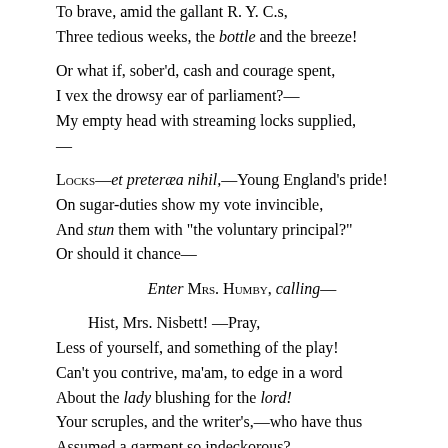To brave, amid the gallant R. Y. C.s,
Three tedious weeks, the bottle and the breeze!

Or what if, sober'd, cash and courage spent,
I vex the drowsy ear of parliament?—
My empty head with streaming locks supplied,
—
Locks—et preteræa nihil,—Young England's pride!
On sugar-duties show my vote invincible,
And stun them with "the voluntary principal?"
Or should it chance—

Enter Mrs. Humby, calling—

Hist, Mrs. Nisbett! —Pray,
Less of yourself, and something of the play!
Can't you contrive, ma'am, to edge in a word
About the lady blushing for the lord!
Your scruples, and the writer's,—who have thus
Assumed a garment so indeckorous?